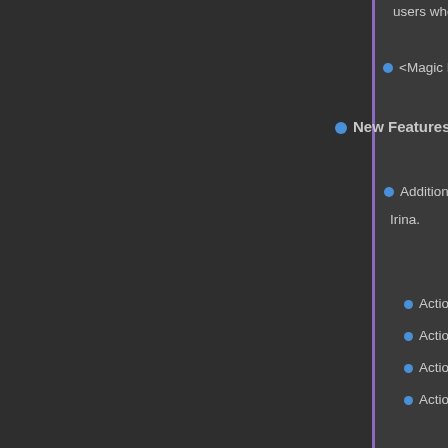users who aren't familiar with how sp
<Magic Reduction: x> notetag updat
New Features!
Additional Action Sequence Plugin C
Irina.
Action Sequences - Angle (for Vi
Action Sequences - Camera (for
Action Sequences - Skew (for Vi
Action Sequences - Zoom (for Vi
Additional Action Sequence Plugin C
by Irina.
MOVE: Scale/Grow/Shrink
[Figure (screenshot): Screenshot of a game scene showing green plant/vine graphics on dark background]